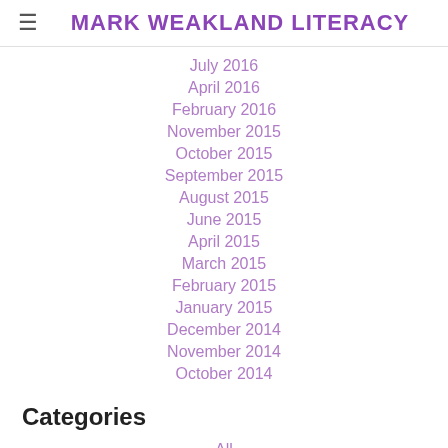MARK WEAKLAND LITERACY
July 2016
April 2016
February 2016
November 2015
October 2015
September 2015
August 2015
June 2015
April 2015
March 2015
February 2015
January 2015
December 2014
November 2014
October 2014
Categories
All